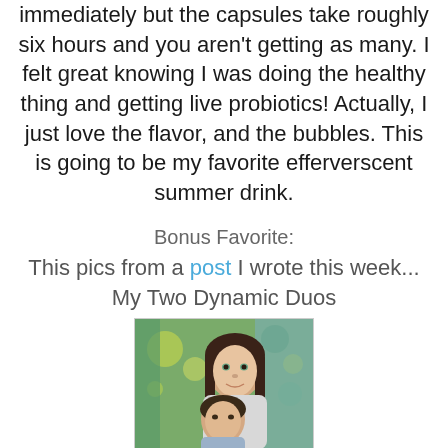immediately but the capsules take roughly six hours and you aren't getting as many. I felt great knowing I was doing the healthy thing and getting live probiotics! Actually, I just love the flavor, and the bubbles. This is going to be my favorite efferverscent summer drink.
Bonus Favorite:
This pics from a post I wrote this week... My Two Dynamic Duos
[Figure (photo): Photo of two children, a teenage girl with long brown hair and a younger boy, outdoors with green foliage in background]